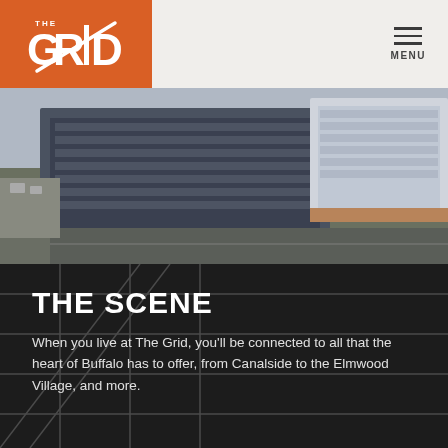THE GRID — MENU
[Figure (photo): Aerial view of The Grid apartment building in Buffalo, NY — a large modern multi-story building at a street corner, seen from above at an angle]
THE SCENE
When you live at The Grid, you'll be connected to all that the heart of Buffalo has to offer, from Canalside to the Elmwood Village, and more.